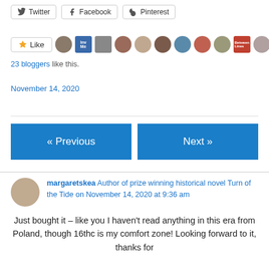[Figure (screenshot): Social sharing buttons: Twitter, Facebook, Pinterest]
[Figure (screenshot): Like button and avatars row showing '23 bloggers like this.']
23 bloggers like this.
November 14, 2020
[Figure (screenshot): Navigation buttons: « Previous and Next »]
margaretskea Author of prize winning historical novel Turn of the Tide on November 14, 2020 at 9:36 am
Just bought it – like you I haven't read anything in this era from Poland, though 16thc is my comfort zone! Looking forward to it, thanks for